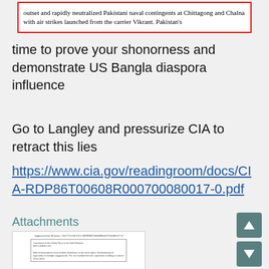[Figure (screenshot): Cropped screenshot of a document with red border outline showing text about Pakistani naval contingents at Chittagong and Chalna with air strikes from carrier Vikrant.]
time to prove your shonorness and demonstrate US Bangla diaspora influence
Go to Langley and pressurize CIA to retract this lies
https://www.cia.gov/readingroom/docs/CIA-RDP86T00608R000700080017-0.pdf
Attachments
[Figure (screenshot): Thumbnail preview of a CIA document PDF attachment showing document header and body text.]